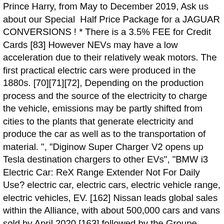Prince Harry, from May to December 2019, Ask us about our Special Half Price Package for a JAGUAR CONVERSIONS ! * There is a 3.5% FEE for Credit Cards [83] However NEVs may have a low acceleration due to their relatively weak motors. The first practical electric cars were produced in the 1880s. [70][71][72], Depending on the production process and the source of the electricity to charge the vehicle, emissions may be partly shifted from cities to the plants that generate electricity and produce the car as well as to the transportation of material. ", "Diginow Super Charger V2 opens up Tesla destination chargers to other EVs", "BMW i3 Electric Car: ReX Range Extender Not For Daily Use? electric car, electric cars, electric vehicle range, electric vehicles, EV. [162] Nissan leads global sales within the Alliance, with about 500,000 cars and vans sold by April 2020,[163] followed by the Groupe Renault with more than 273,550 electric vehicles sold worldwide through December 2019, including its Twizy heavy quadricycle. While heating can be provided with an electric resistance heater, higher efficiency and integral cooling can be obtained with a reversible heat pump system — the Nissan Leaf, Th...